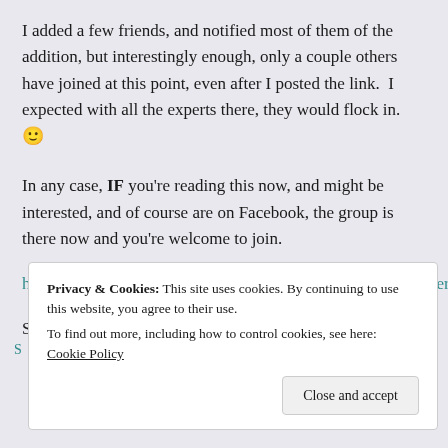I added a few friends, and notified most of them of the addition, but interestingly enough, only a couple others have joined at this point, even after I posted the link.  I expected with all the experts there, they would flock in. 🙂
In any case, IF you're reading this now, and might be interested, and of course are on Facebook, the group is there now and you're welcome to join.
https://www.facebook.com/groups/SailingAndCruisingPreppers/
See ya there!
Privacy & Cookies: This site uses cookies. By continuing to use this website, you agree to their use.
To find out more, including how to control cookies, see here: Cookie Policy
Close and accept